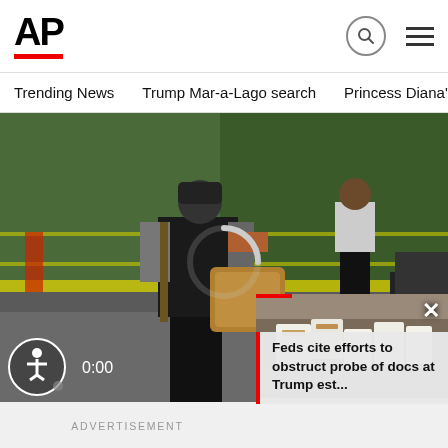[Figure (logo): AP (Associated Press) logo in bold black with red underline]
Trending News   Trump Mar-a-Lago search   Princess Diana's dea
[Figure (photo): News video screenshot showing police officer in tactical vest with bag at a crime scene behind yellow tape, with loading spinner overlay and 0:00 timecode, plus accessibility button]
[Figure (photo): Picture-in-picture thumbnail showing documents on a table, with red accent bar and close button]
Feds cite efforts to obstruct probe of docs at Trump est...
ADVERTISEMENT